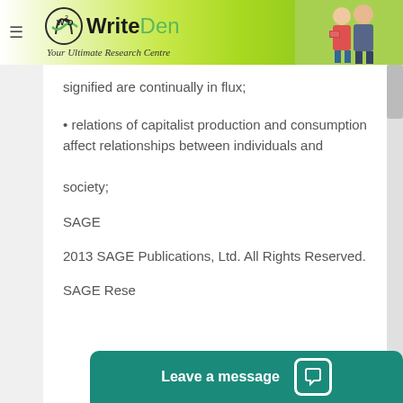[Figure (logo): WriteDen logo banner with green gradient background and student photo]
signified are continually in flux;
• relations of capitalist production and consumption affect relationships between individuals and society;
SAGE
2013 SAGE Publications, Ltd. All Rights Reserved.
SAGE Rese